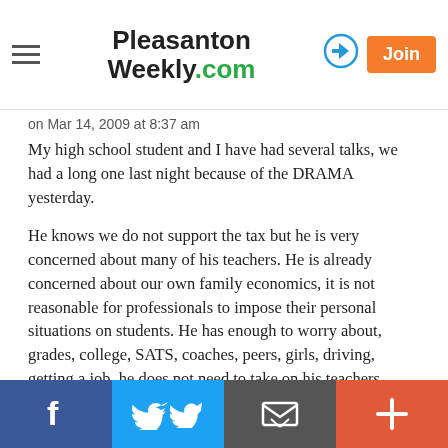Pleasanton Weekly.com
on Mar 14, 2009 at 8:37 am
My high school student and I have had several talks, we had a long one last night because of the DRAMA yesterday.
He knows we do not support the tax but he is very concerned about many of his teachers. He is already concerned about our own family economics, it is not reasonable for professionals to impose their personal situations on students. He has enough to worry about, grades, college, SATS, coaches, peers, girls, driving, getting a job, he does not need to take on his teachers burdens also but now he has.
f  Twitter  Email  +